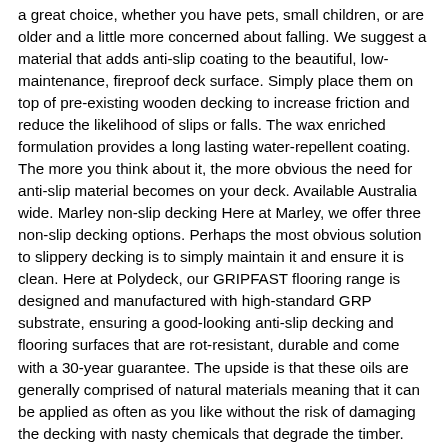a great choice, whether you have pets, small children, or are older and a little more concerned about falling. We suggest a material that adds anti-slip coating to the beautiful, low-maintenance, fireproof deck surface. Simply place them on top of pre-existing wooden decking to increase friction and reduce the likelihood of slips or falls. The wax enriched formulation provides a long lasting water-repellent coating. The more you think about it, the more obvious the need for anti-slip material becomes on your deck. Available Australia wide. Marley non-slip decking Here at Marley, we offer three non-slip decking options. Perhaps the most obvious solution to slippery decking is to simply maintain it and ensure it is clean. Here at Polydeck, our GRIPFAST flooring range is designed and manufactured with high-standard GRP substrate, ensuring a good-looking anti-slip decking and flooring surfaces that are rot-resistant, durable and come with a 30-year guarantee. The upside is that these oils are generally comprised of natural materials meaning that it can be applied as often as you like without the risk of damaging the decking with nasty chemicals that degrade the timber. But of course, deciding that you need a deck is only the first step. Internet Marketing Solutions by MonkeyFish Marketing Ltd. Polydeck limited manufactures the GRIPFAST range of anti-slip panels and anti-slip treads which are designed to make slippery surfaces safer for people to use. TotalBoat Non-Skid Deck Paint Thanks to being one part polyurethane, this paint makes the surface it covers durable and non-slippery. Non Slip Decking Strips - Pack of 5, 50mm x 600mm Anti Slip Decking Safety Floor